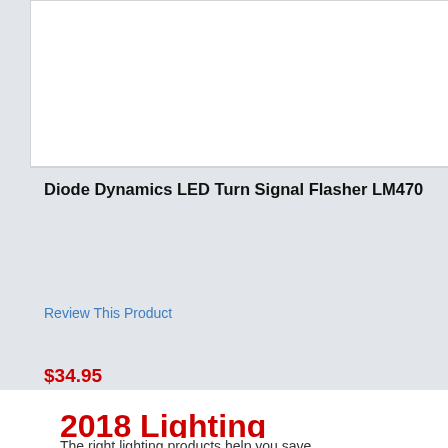Diode Dynamics LED Turn Signal Flasher LM470
Review This Product
$34.95
See Details
2018 Lighting
The right lighting products help you save...